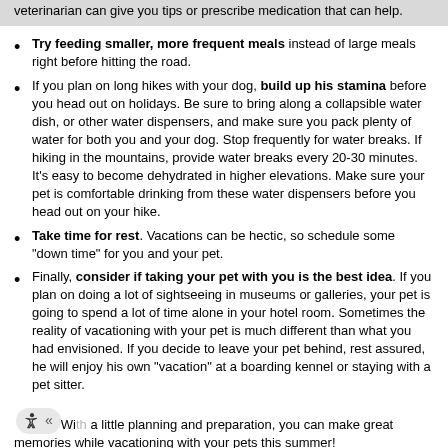veterinarian can give you tips or prescribe medication that can help.
Try feeding smaller, more frequent meals instead of large meals right before hitting the road.
If you plan on long hikes with your dog, build up his stamina before you head out on holidays. Be sure to bring along a collapsible water dish, or other water dispensers, and make sure you pack plenty of water for both you and your dog. Stop frequently for water breaks. If hiking in the mountains, provide water breaks every 20-30 minutes. It's easy to become dehydrated in higher elevations. Make sure your pet is comfortable drinking from these water dispensers before you head out on your hike.
Take time for rest. Vacations can be hectic, so schedule some “down time” for you and your pet.
Finally, consider if taking your pet with you is the best idea. If you plan on doing a lot of sightseeing in museums or galleries, your pet is going to spend a lot of time alone in your hotel room. Sometimes the reality of vacationing with your pet is much different than what you had envisioned. If you decide to leave your pet behind, rest assured, he will enjoy his own “vacation” at a boarding kennel or staying with a pet sitter.
With a little planning and preparation, you can make great memories while vacationing with your pets this summer!